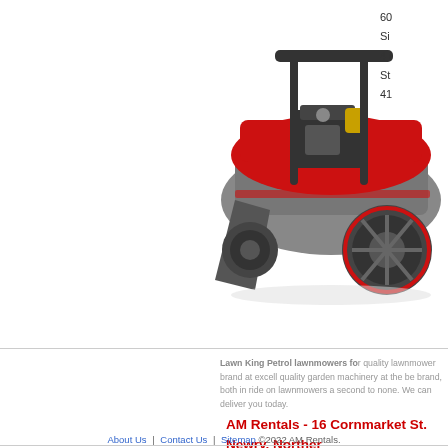[Figure (photo): Red and grey petrol lawnmower (Lawn King brand) shown from front-side angle with large rear wheels]
60
Si
4 i
St
41
Lawn King Petrol lawnmowers for quality lawnmower brand at excell quality garden machinery at the be brand, both in ride on lawnmowers a second to none. We can deliver you today.
AM Rentals - 16 Cornmarket St. Newry, Northern Ireland
About Us | Contact Us | Sitemap ©2022 AM Rentals.